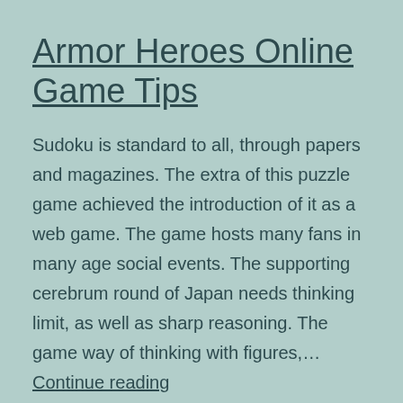Armor Heroes Online Game Tips
Sudoku is standard to all, through papers and magazines. The extra of this puzzle game achieved the introduction of it as a web game. The game hosts many fans in many age social events. The supporting cerebrum round of Japan needs thinking limit, as well as sharp reasoning. The game way of thinking with figures,… Continue reading